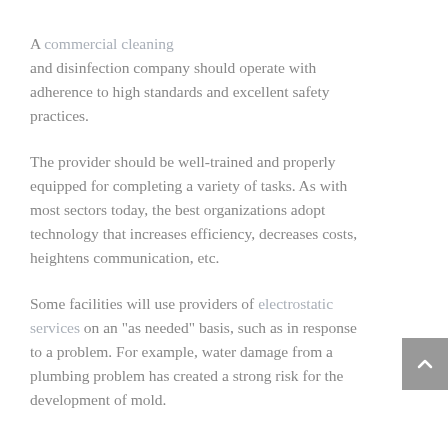A commercial cleaning and disinfection company should operate with adherence to high standards and excellent safety practices.
The provider should be well-trained and properly equipped for completing a variety of tasks. As with most sectors today, the best organizations adopt technology that increases efficiency, decreases costs, heightens communication, etc.
Some facilities will use providers of electrostatic services on an “as needed” basis, such as in response to a problem. For example, water damage from a plumbing problem has created a strong risk for the development of mold.